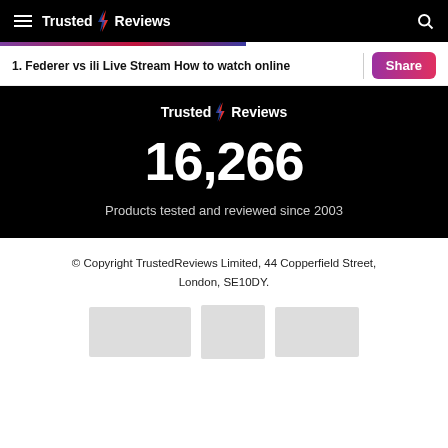Trusted Reviews
1. Federer vs ili Live Stream How to watch online
[Figure (logo): Trusted Reviews logo with lightning bolt on black background]
16,266
Products tested and reviewed since 2003
© Copyright TrustedReviews Limited, 44 Copperfield Street, London, SE10DY.
[Figure (other): Three grey placeholder image boxes]